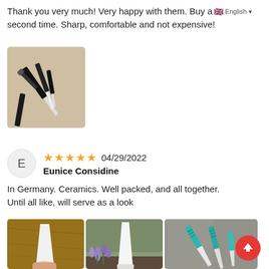Thank you very much! Very happy with them. Buy a second time. Sharp, comfortable and not expensive!
[Figure (photo): A set of black-handled ceramic knives and a peeler arranged on a light wooden surface]
E
★★★★★ 04/29/2022
Eunice Considine
In Germany. Ceramics. Well packed, and all together. Until all like, will serve as a look
[Figure (photo): White ceramic knife blade held in hand over wooden surface]
[Figure (photo): White ceramic knife lying on ground near purple lavender flowers]
[Figure (photo): Teal/turquoise handled ceramic knives arranged on stone surface]